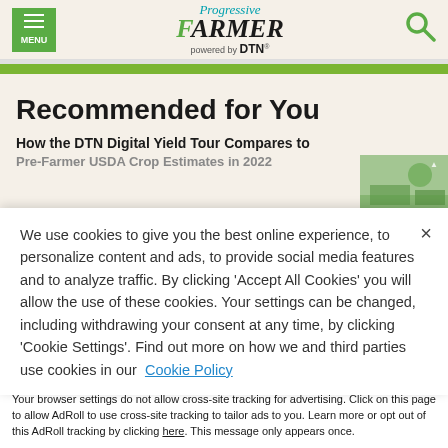MENU | Progressive Farmer powered by DTN
Recommended for You
How the DTN Digital Yield Tour Compares to Pre-Farmer USDA Crop Estimates in 2022
We use cookies to give you the best online experience, to personalize content and ads, to provide social media features and to analyze traffic. By clicking 'Accept All Cookies' you will allow the use of these cookies. Your settings can be changed, including withdrawing your consent at any time, by clicking 'Cookie Settings'. Find out more on how we and third parties use cookies in our Cookie Policy
Accept and Close ×
Your browser settings do not allow cross-site tracking for advertising. Click on this page to allow AdRoll to use cross-site tracking to tailor ads to you. Learn more or opt out of this AdRoll tracking by clicking here. This message only appears once.